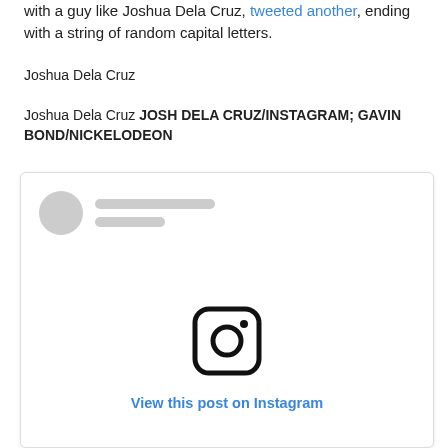with a guy like Joshua Dela Cruz, tweeted another, ending with a string of random capital letters.
Joshua Dela Cruz
Joshua Dela Cruz JOSH DELA CRUZ/INSTAGRAM; GAVIN BOND/NICKELODEON
[Figure (screenshot): Embedded Instagram post placeholder with circular avatar placeholder, two gray line placeholders for username, Instagram logo icon, and 'View this post on Instagram' link text in blue.]